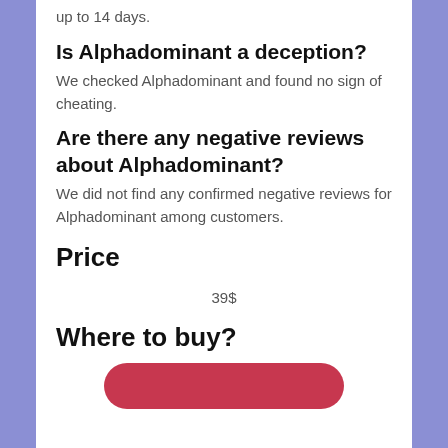up to 14 days.
Is Alphadominant a deception?
We checked Alphadominant and found no sign of cheating.
Are there any negative reviews about Alphadominant?
We did not find any confirmed negative reviews for Alphadominant among customers.
Price
39$
Where to buy?
[Figure (other): Red rounded rectangle buy button at bottom of card]